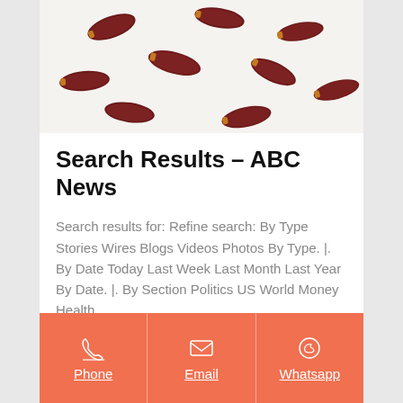[Figure (photo): Photo of dark red dried dates scattered on a white background, cropped at top]
Search Results – ABC News
Search results for: Refine search: By Type Stories Wires Blogs Videos Photos By Type. |. By Date Today Last Week Last Month Last Year By Date. |. By Section Politics US World Money Health
Get Price
[Figure (infographic): Orange footer bar with three columns: Phone (phone icon), Email (envelope icon), Whatsapp (whatsapp icon)]